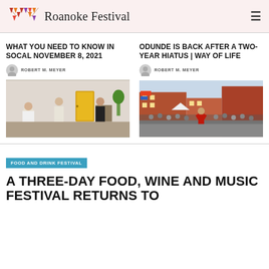Roanoke Festival
WHAT YOU NEED TO KNOW IN SOCAL NOVEMBER 8, 2021
ROBERT M. MEYER
[Figure (photo): Indoor scene with people in a room with a yellow door]
ODUNDE IS BACK AFTER A TWO-YEAR HIATUS | WAY OF LIFE
ROBERT M. MEYER
[Figure (photo): Outdoor festival street scene with performers in red costume and crowd]
FOOD AND DRINK FESTIVAL
A THREE-DAY FOOD, WINE AND MUSIC FESTIVAL RETURNS TO